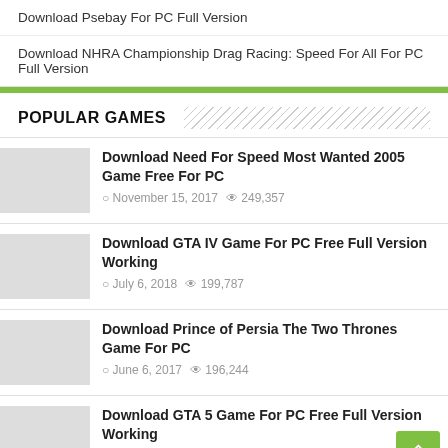Download Psebay For PC Full Version
Download NHRA Championship Drag Racing: Speed For All For PC Full Version
POPULAR GAMES
Download Need For Speed Most Wanted 2005 Game Free For PC
November 15, 2017  249,357
Download GTA IV Game For PC Free Full Version Working
July 6, 2018  199,787
Download Prince of Persia The Two Thrones Game For PC
June 6, 2017  196,244
Download GTA 5 Game For PC Free Full Version Working